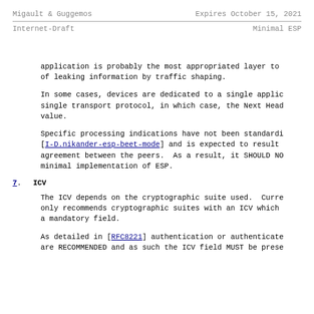Migault & Guggemos      Expires October 15, 2021
Internet-Draft                          Minimal ESP
application is probably the most appropriated layer to of leaking information by traffic shaping.
In some cases, devices are dedicated to a single applic single transport protocol, in which case, the Next Head value.
Specific processing indications have not been standardi [I-D.nikander-esp-beet-mode] and is expected to result agreement between the peers.  As a result, it SHOULD NO minimal implementation of ESP.
7.  ICV
The ICV depends on the cryptographic suite used.  Curre only recommends cryptographic suites with an ICV which a mandatory field.
As detailed in [RFC8221] authentication or authenticate are RECOMMENDED and as such the ICV field MUST be prese